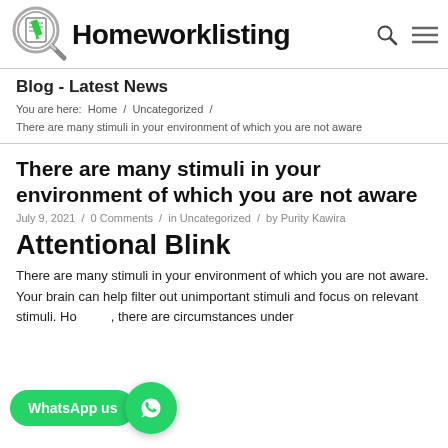[Figure (logo): Homeworklisting logo with magnifying glass icon and document]
Blog - Latest News
You are here: Home / Uncategorized /
There are many stimuli in your environment of which you are not aware
There are many stimuli in your environment of which you are not aware
July 9, 2021 / 0 Comments / in Uncategorized / by Purity Kawira
Attentional Blink
There are many stimuli in your environment of which you are not aware. Your brain can help filter out unimportant stimuli and focus on relevant stimuli. However, there are circumstances under